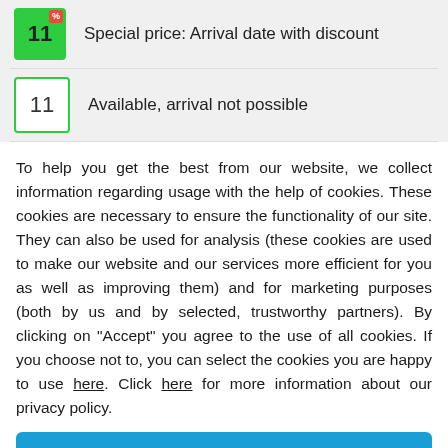Special price: Arrival date with discount
Available, arrival not possible
To help you get the best from our website, we collect information regarding usage with the help of cookies. These cookies are necessary to ensure the functionality of our site. They can also be used for analysis (these cookies are used to make our website and our services more efficient for you as well as improving them) and for marketing purposes (both by us and by selected, trustworthy partners). By clicking on "Accept" you agree to the use of all cookies. If you choose not to, you can select the cookies you are happy to use here. Click here for more information about our privacy policy.
Accept
Decline
Configure